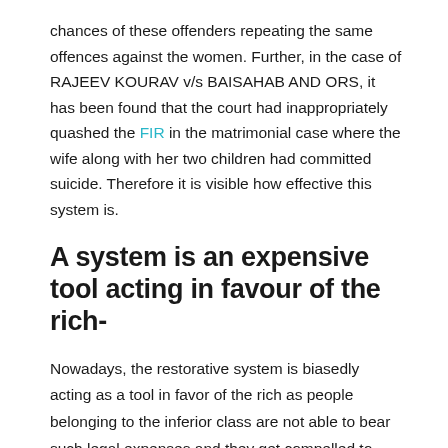chances of these offenders repeating the same offences against the women. Further, in the case of RAJEEV KOURAV v/s BAISAHAB AND ORS, it has been found that the court had inappropriately quashed the FIR in the matrimonial case where the wife along with her two children had committed suicide. Therefore it is visible how effective this system is.
A system is an expensive tool acting in favour of the rich-
Nowadays, the restorative system is biasedly acting as a tool in favor of the rich as people belonging to the inferior class are not able to bear such legal expenses and they get compelled to compromise with fair justice. Moreover, the myth that restorative system is less expensive than litigation has also been crushed by one of the studies done by don Corporate Counsel, which showed that out of 19